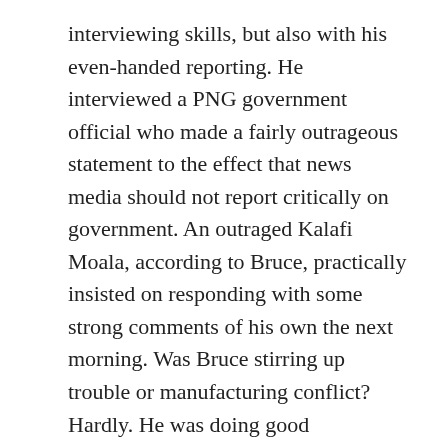interviewing skills, but also with his even-handed reporting. He interviewed a PNG government official who made a fairly outrageous statement to the effect that news media should not report critically on government. An outraged Kalafi Moala, according to Bruce, practically insisted on responding with some strong comments of his own the next morning. Was Bruce stirring up trouble or manufacturing conflict? Hardly. He was doing good journalism. Bruce is a real pro. He doesn’t deserve Graham’s criticisms. That said, I know exactly what Graham means by the Australian media manufacturing conflict in Fiji. I have had my own views misrepresented on Radio Australia, but not by Bruce.